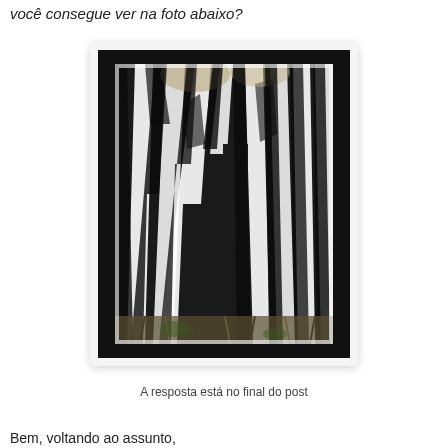você consegue ver na foto abaixo?
[Figure (photo): Close-up photograph of zebra stripes — multiple zebras photographed from close range, showing their black and white striped bodies with some grass visible at the bottom. The photo is mounted within a black mat/border frame, displayed on a light gray card with rounded corners and drop shadow.]
A resposta está no final do post
Bem, voltando ao assunto,